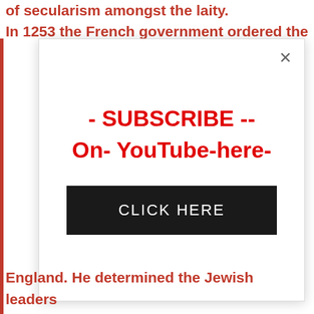of secularism amongst the laity.
In 1253 the French government ordered the
[Figure (screenshot): Modal popup overlay with close button (×), red bold text reading '- SUBSCRIBE -- On- YouTube-here-', and a black button labeled 'CLICK HERE']
England. He determined the Jewish leaders